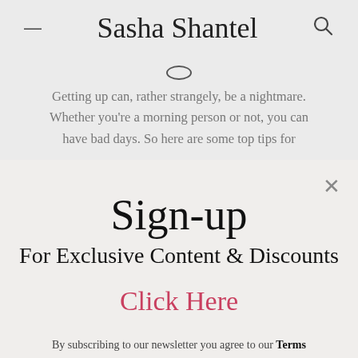Sasha Shantel
Getting up can, rather strangely, be a nightmare. Whether you're a morning person or not, you can have bad days. So here are some top tips for ...
Sign-up
For Exclusive Content & Discounts
Click Here
By subscribing to our newsletter you agree to our Terms and Conditions and Privacy Policy